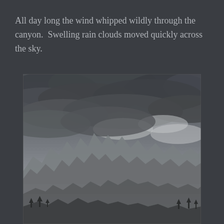All day long the wind whipped wildly through the canyon.  Swelling rain clouds moved quickly across the sky.
[Figure (photo): Photograph of a rugged mountain range under a dramatic overcast sky. Dark storm clouds fill the upper two-thirds of the image, with lighter patches breaking through in places. The lower portion shows jagged rocky peaks and ridgelines with sparse evergreen trees at lower elevations.]